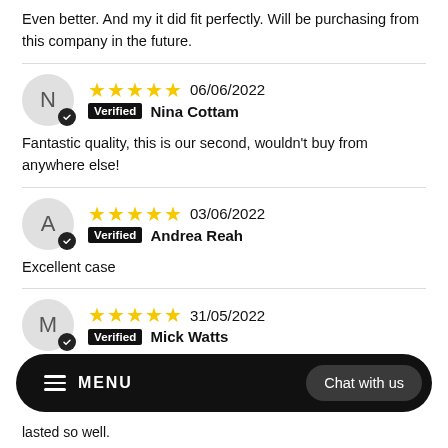Even better. And my it did fit perfectly. Will be purchasing from this company in the future.
★★★★★ 06/06/2022 Verified Nina Cottam
Fantastic quality, this is our second, wouldn't buy from anywhere else!
★★★★★ 03/06/2022 Verified Andrea Reah
Excellent case
★★★★★ 31/05/2022 Verified Mick Watts
lasted so well.